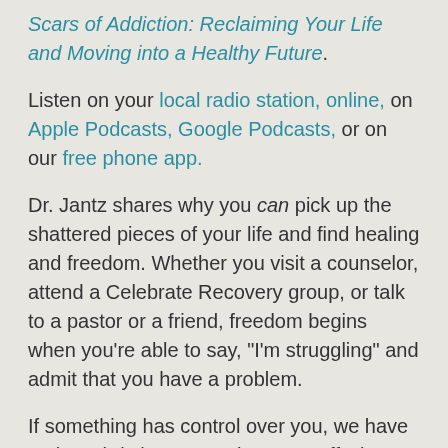Scars of Addiction: Reclaiming Your Life and Moving into a Healthy Future.
Listen on your local radio station, online, on Apple Podcasts, Google Podcasts, or on our free phone app.
Dr. Jantz shares why you can pick up the shattered pieces of your life and find healing and freedom. Whether you visit a counselor, attend a Celebrate Recovery group, or talk to a pastor or a friend, freedom begins when you’re able to say, “I’m struggling” and admit that you have a problem.
If something has control over you, we have caring Christian counselors on staff who would count it a privilege to offer you a free